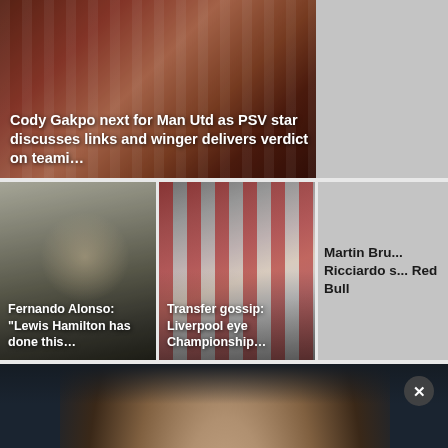[Figure (screenshot): Sports news thumbnail: Cody Gakpo PSV article with players in red/white striped jerseys]
Cody Gakpo next for Man Utd as PSV star discusses links and winger delivers verdict on teami...
[Figure (photo): Side panel placeholder gray area]
[Figure (photo): Fernando Alonso close-up portrait in racing context]
Fernando Alonso: "Lewis Hamilton has done this..."
[Figure (photo): Sheffield United footballer in red and white striped kit]
Transfer gossip: Liverpool eye Championship...
[Figure (photo): Gray side panel with Martin Brundle Ricciardo Red Bull text]
Martin Bru... Ricciardo s... Red Bull
[Figure (photo): Large close-up portrait of a man with dark hair and brown eyes against dark background, with close button and chat notification badge showing 5]
5